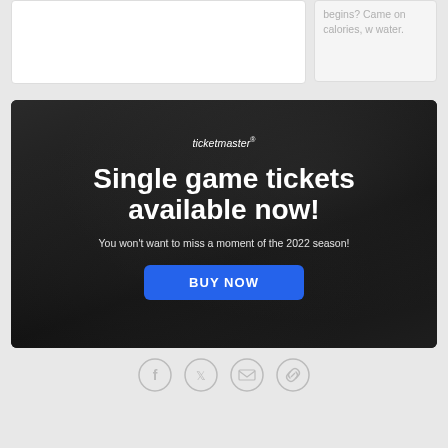[Figure (screenshot): White content card (partial, top area blank)]
begins? Came on calories, w water.
[Figure (infographic): Ticketmaster advertisement banner with dark textured background. Shows logo 'ticketmaster®', headline 'Single game tickets available now!', subtext 'You won't want to miss a moment of the 2022 season!', and a blue 'BUY NOW' button.]
[Figure (infographic): Social sharing icons row: Facebook, Twitter, Email, Link/chain icon — all circular outlined in gray]